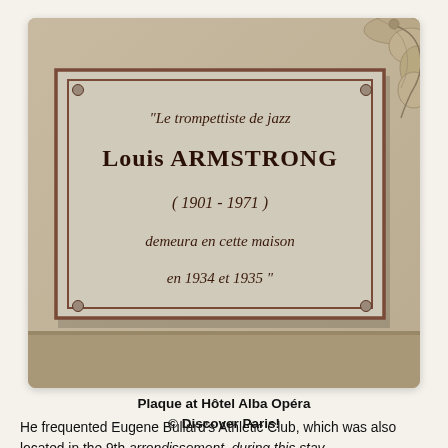[Figure (photo): Photograph of a stone memorial plaque mounted on a building wall. The plaque reads in French: 'Le trompettiste de jazz Louis ARMSTRONG (1901 - 1971) demeura en cette maison en 1934 et 1935'. The plaque is light grey with a dark red/brown border and decorative bolts at each corner. A stone architectural detail is visible in the upper right.]
Plaque at Hôtel Alba Opéra
© Discover Paris!
He frequented Eugene Bullard's Athletic Club, which was also located in the 9th arrondissement, during this stay.